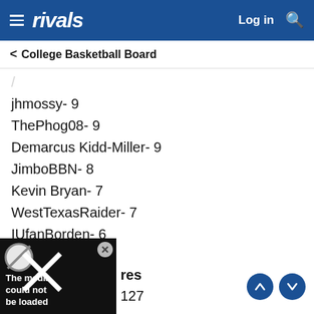rivals
College Basketball Board
jhmossy- 9
ThePhog08- 9
Demarcus Kidd-Miller- 9
JimboBBN- 8
Kevin Bryan- 7
WestTexasRaider- 7
IUfanBorden- 6
AWilli6995- 6
MGC_07- 6
boilerzz- 6
coryfly- 2
[Figure (screenshot): Media player overlay showing 'The media could not be loaded' with close button and no-entry icon]
res 127